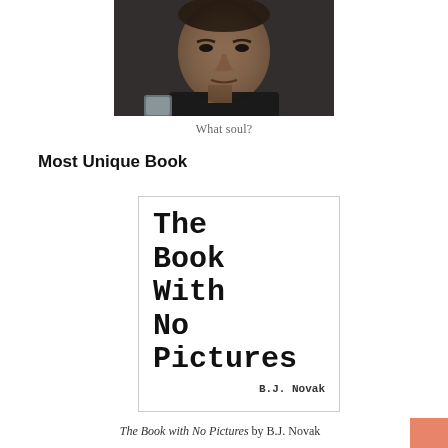[Figure (photo): A dark-haired man in a black shirt, photographed indoors, holding a glass. Moody, dramatic lighting.]
What soul?
Most Unique Book
[Figure (illustration): Book cover of 'The Book With No Pictures' by B.J. Novak. White cover with large black serif typewriter-style title text and author name at bottom right.]
The Book with No Pictures by B.J. Novak